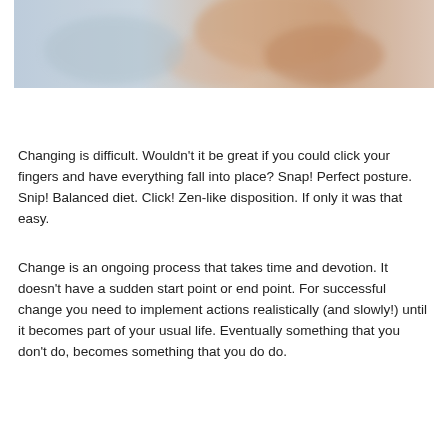[Figure (photo): Blurred photo of a person's hands/back, soft warm tones with light blue background, abstract wellness/relaxation image]
Changing is difficult. Wouldn't it be great if you could click your fingers and have everything fall into place? Snap! Perfect posture. Snip! Balanced diet. Click! Zen-like disposition. If only it was that easy.
Change is an ongoing process that takes time and devotion. It doesn't have a sudden start point or end point. For successful change you need to implement actions realistically (and slowly!) until it becomes part of your usual life. Eventually something that you don't do, becomes something that you do do.